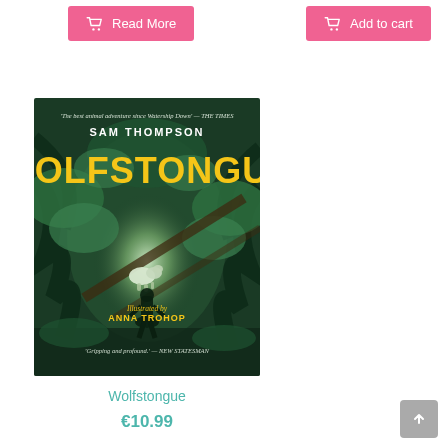[Figure (other): Pink 'Read More' button with shopping cart icon]
[Figure (other): Pink 'Add to cart' button with shopping cart icon]
[Figure (illustration): Book cover of Wolfstongue by Sam Thompson, illustrated by Anna Trohop. Features a dark forest tunnel with a wolf and a silhouetted figure. Title 'WOLFSTONGUE' in large yellow letters. Quotes from The Times and New Statesman.]
Wolfstongue
€10.99